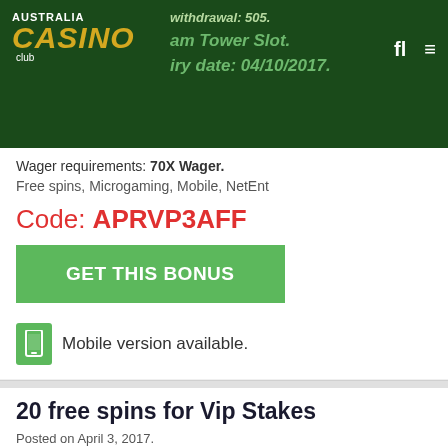Australia Casino Club
Wager requirements: 70X Wager.
Free spins, Microgaming, Mobile, NetEnt
Code: APRVP3AFF
GET THIS BONUS
Mobile version available.
20 free spins for Vip Stakes
Posted on April 3, 2017.